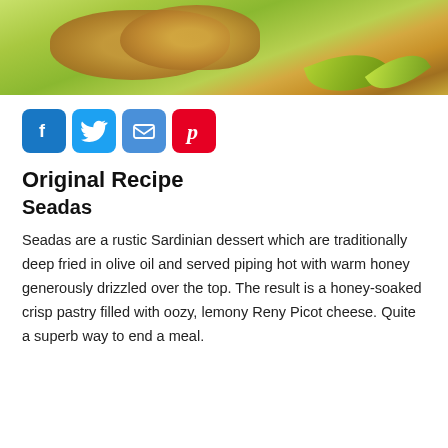[Figure (photo): Close-up photo of Seadas (Sardinian fried pastry with honey) on a green leaf/plate background with citrus garnish]
[Figure (infographic): Social sharing buttons: Facebook (blue), Twitter (light blue), Email (blue envelope), Pinterest (red)]
Original Recipe
Seadas
Seadas are a rustic Sardinian dessert which are traditionally deep fried in olive oil and served piping hot with warm honey generously drizzled over the top. The result is a honey-soaked crisp pastry filled with oozy, lemony Reny Picot cheese. Quite a superb way to end a meal.